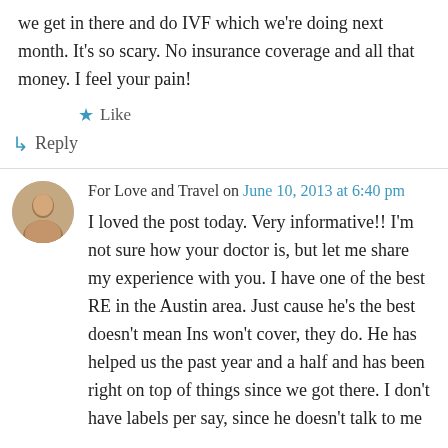we get in there and do IVF which we're doing next month. It's so scary. No insurance coverage and all that money. I feel your pain!
★ Like
↳ Reply
For Love and Travel on June 10, 2013 at 6:40 pm
I loved the post today. Very informative!! I'm not sure how your doctor is, but let me share my experience with you. I have one of the best RE in the Austin area. Just cause he's the best doesn't mean Ins won't cover, they do. He has helped us the past year and a half and has been right on top of things since we got there. I don't have labels per say, since he doesn't talk to me